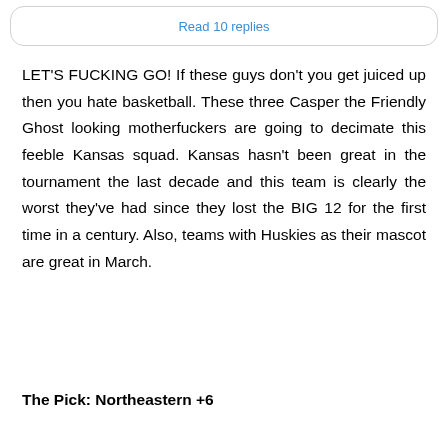Read 10 replies
LET'S FUCKING GO! If these guys don't you get juiced up then you hate basketball. These three Casper the Friendly Ghost looking motherfuckers are going to decimate this feeble Kansas squad. Kansas hasn't been great in the tournament the last decade and this team is clearly the worst they've had since they lost the BIG 12 for the first time in a century. Also, teams with Huskies as their mascot are great in March.
The Pick: Northeastern +6